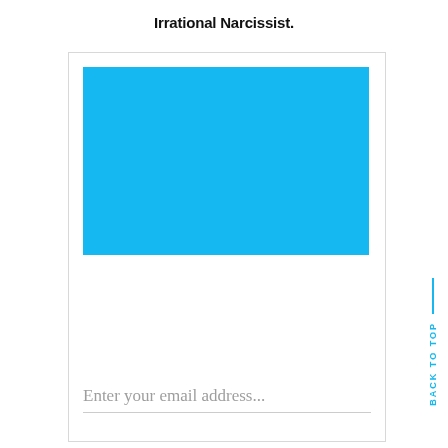Irrational Narcissist.
[Figure (illustration): A bright blue rectangle representing an image placeholder inside a card UI with a light gray border.]
Enter your email address...
BACK TO TOP